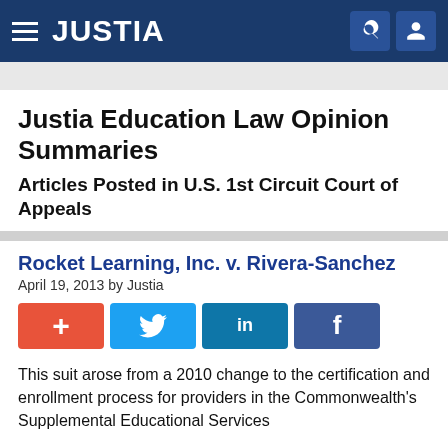JUSTIA
Justia Education Law Opinion Summaries
Articles Posted in U.S. 1st Circuit Court of Appeals
Rocket Learning, Inc. v. Rivera-Sanchez
April 19, 2013 by Justia
This suit arose from a 2010 change to the certification and enrollment process for providers in the Commonwealth's Supplemental Educational Services